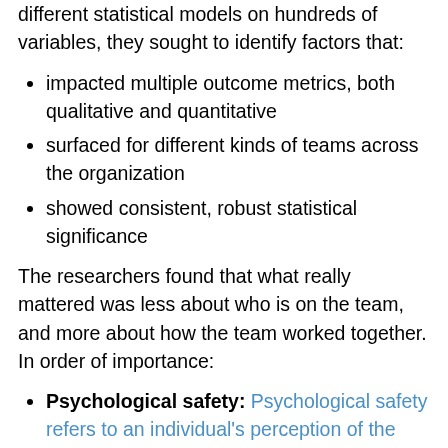different statistical models on hundreds of variables, they sought to identify factors that:
impacted multiple outcome metrics, both qualitative and quantitative
surfaced for different kinds of teams across the organization
showed consistent, robust statistical significance
The researchers found that what really mattered was less about who is on the team, and more about how the team worked together. In order of importance:
Psychological safety: Psychological safety refers to an individual's perception of the consequences of taking an interpersonal risk or a belief that a team is safe for risk taking in the face of being seen as ignorant, incompetent, negative, or disruptive. In a team with high psychological safety, teammates feel safe to take risks around